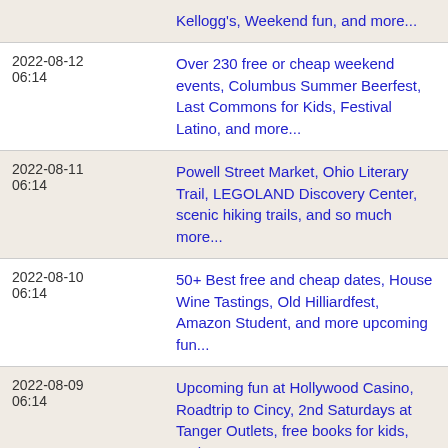| Date/Time | Event |
| --- | --- |
|  | Kellogg's, Weekend fun, and more... |
| 2022-08-12 06:14 | Over 230 free or cheap weekend events, Columbus Summer Beerfest, Last Commons for Kids, Festival Latino, and more... |
| 2022-08-11 06:14 | Powell Street Market, Ohio Literary Trail, LEGOLAND Discovery Center, scenic hiking trails, and so much more... |
| 2022-08-10 06:14 | 50+ Best free and cheap dates, House Wine Tastings, Old Hilliardfest, Amazon Student, and more upcoming fun... |
| 2022-08-09 06:14 | Upcoming fun at Hollywood Casino, Roadtrip to Cincy, 2nd Saturdays at Tanger Outlets, free books for kids, and more... |
| 2022-08-08 06:14 | Franklinton Fridays, Gift of Music Campaign, JCP Kids Zone, 2nd Sundays Ohio Wildlife Center, 2nd Saturdays with PBS, and more... |
| 2022-08-07 | Air Power History Tour and more fun in Mansfield, Euro Bike |